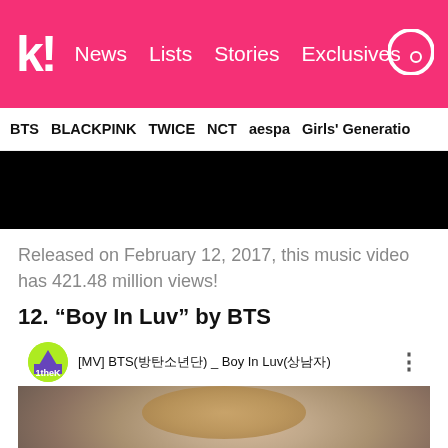k! News Lists Stories Exclusives
BTS BLACKPINK TWICE NCT aespa Girls' Generation
[Figure (screenshot): Black rectangle representing a video player placeholder]
Released on February 12, 2017, this music video has 421.48 million views!
12. “Boy In Luv” by BTS
[Figure (screenshot): YouTube video embed showing [MV] BTS(방탄소년단) _ Boy In Luv(상남자) with a BTS member photo and YouTube play button]